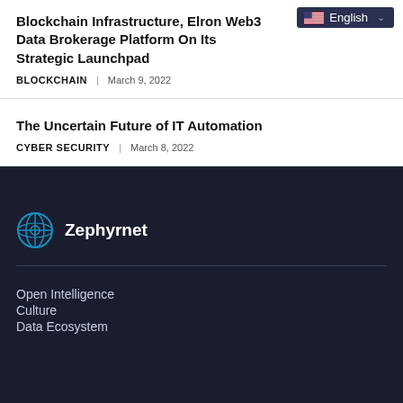Blockchain Infrastructure, Elron Web3 Data Brokerage Platform On Its Strategic Launchpad
BLOCKCHAIN | March 9, 2022
The Uncertain Future of IT Automation
CYBER SECURITY | March 8, 2022
Zephyrnet
Open Intelligence
Culture
Data Ecosystem